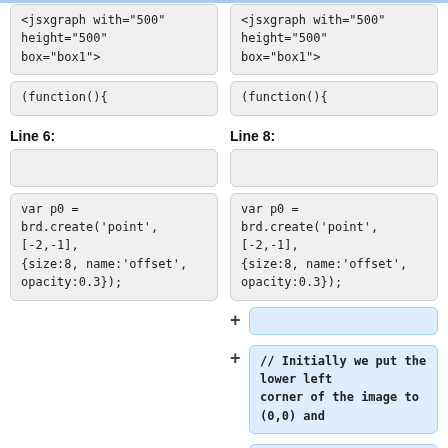<jsxgraph with="500" height="500" box="box1">
<jsxgraph with="500" height="500" box="box1">
(function(){
(function(){
Line 6:
Line 8:
var p0 = brd.create('point', [-2,-1], {size:8, name:'offset', opacity:0.3});
var p0 = brd.create('point', [-2,-1], {size:8, name:'offset', opacity:0.3});
// Initially we put the lower left corner of the image to (0,0) and
// p1 to (3,0)
// After applying the transformation tOff to the image and the point p1, they are moved to
// (-2,-1) and (1,-1), respectively.